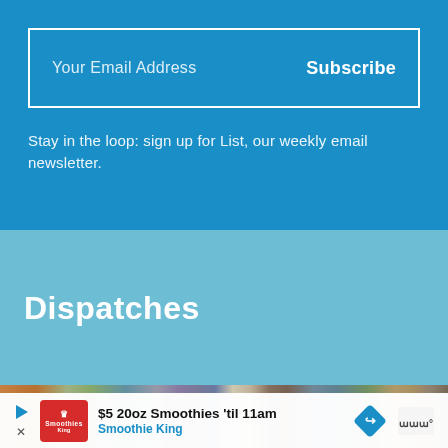Your Email Address
Subscribe
Stay in the loop: sign up for List, our weekly email newsletter.
Dispatches
[Figure (photo): Interior room scene viewed from behind a person, with plants, windows, and framed artwork on the walls]
$5 20oz Smoothies 'til 11am
Smoothie King